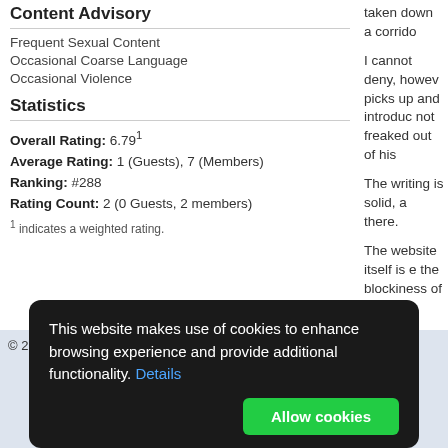Content Advisory
Frequent Sexual Content
Occasional Coarse Language
Occasional Violence
Statistics
Overall Rating: 6.791
Average Rating: 1 (Guests), 7 (Members)
Ranking: #288
Rating Count: 2 (0 Guests, 2 members)
1 indicates a weighted rating.
taken down a corrido
I cannot deny, howev picks up and introduc not freaked out of his
The writing is solid, a there.
The website itself is e the blockiness of the
In sum, creepy, quick
Rating: 7 / 10
Rate this review:
Did you find this revie
You must be logged i
© 2008-2022 Muse's Success
This website makes use of cookies to enhance browsing experience and provide additional functionality. Details
Allow cookies